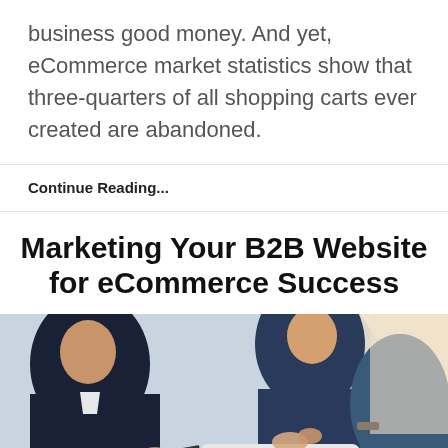business good money. And yet, eCommerce market statistics show that three-quarters of all shopping carts ever created are abandoned.
Continue Reading...
Marketing Your B2B Website for eCommerce Success
[Figure (photo): Business professionals in suits reviewing charts and data on a tablet computer, pointing at the screen, with documents on table]